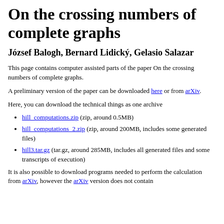On the crossing numbers of complete graphs
József Balogh, Bernard Lidický, Gelasio Salazar
This page contains computer assisted parts of the paper On the crossing numbers of complete graphs.
A preliminary version of the paper can be downloaded here or from arXiv.
Here, you can download the technical things as one archive
hill_computations.zip (zip, around 0.5MB)
hill_computations_2.zip (zip, around 200MB, includes some generated files)
hill3.tar.gz (tar.gz, around 285MB, includes all generated files and some transcripts of execution)
It is also possible to download programs needed to perform the calculation from arXiv, however the arXiv version does not contain